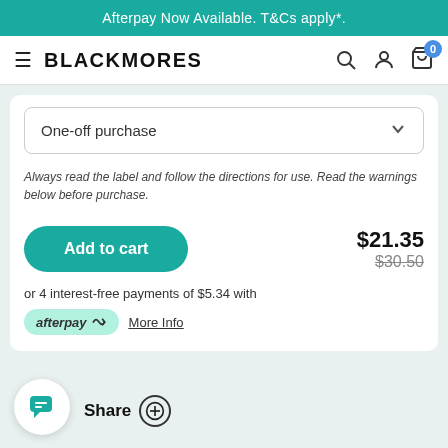Afterpay Now Available. T&Cs apply*.
[Figure (logo): Blackmores logo with hamburger menu, search, account, and cart icons with badge showing 0]
One-off purchase
Always read the label and follow the directions for use. Read the warnings below before purchase.
Add to cart
$21.35
$30.50
or 4 interest-free payments of $5.34 with
[Figure (logo): Afterpay logo in green pill badge]
More Info
Share